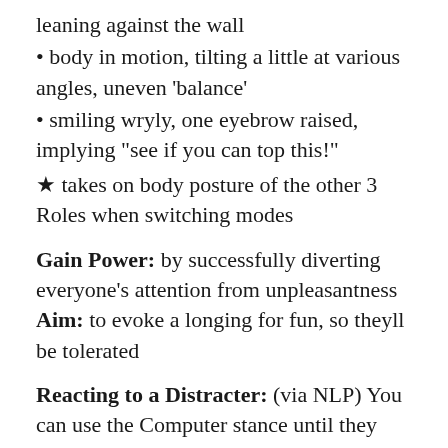leaning against the wall
body in motion, tilting a little at various angles, uneven ‘balance’
smiling wryly, one eyebrow raised, implying “see if you can top this!”
★ takes on body posture of the other 3 Roles when switching modes
Gain Power: by successfully diverting everyone’s attention from unpleasantness
Aim: to evoke a longing for fun, so theyll be tolerated
Reacting to a Distracter: (via NLP) You can use the Computer stance until they switch, then recalibrate to Placater or Blamer. Be careful: the super reasonable attitude can also